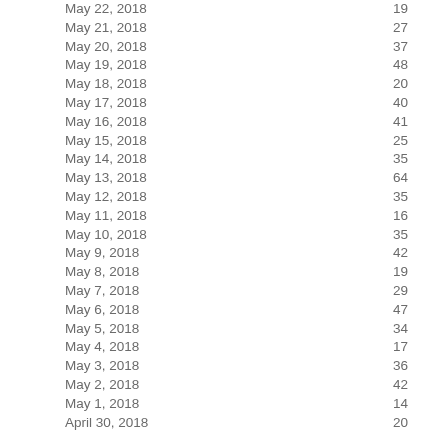| Date | Value |
| --- | --- |
| May 22, 2018 | 19 |
| May 21, 2018 | 27 |
| May 20, 2018 | 37 |
| May 19, 2018 | 48 |
| May 18, 2018 | 20 |
| May 17, 2018 | 40 |
| May 16, 2018 | 41 |
| May 15, 2018 | 25 |
| May 14, 2018 | 35 |
| May 13, 2018 | 64 |
| May 12, 2018 | 35 |
| May 11, 2018 | 16 |
| May 10, 2018 | 35 |
| May 9, 2018 | 42 |
| May 8, 2018 | 19 |
| May 7, 2018 | 29 |
| May 6, 2018 | 47 |
| May 5, 2018 | 34 |
| May 4, 2018 | 17 |
| May 3, 2018 | 36 |
| May 2, 2018 | 42 |
| May 1, 2018 | 14 |
| April 30, 2018 | 20 |